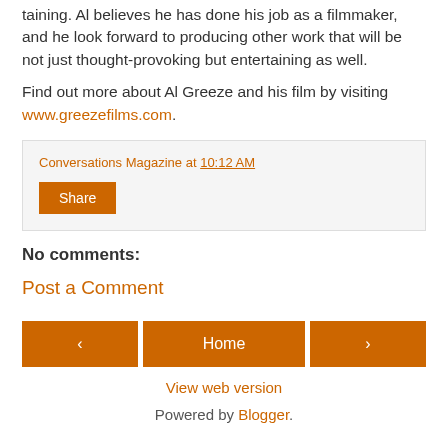taining. Al believes he has done his job as a filmmaker, and he look forward to producing other work that will be not just thought-provoking but entertaining as well.
Find out more about Al Greeze and his film by visiting www.greezefilms.com.
Conversations Magazine at 10:12 AM
Share
No comments:
Post a Comment
‹ Home › View web version Powered by Blogger.